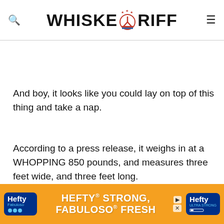WHISKEY RIFF (with logo badge)
And boy, it looks like you could lay on top of this thing and take a nap.
According to a press release, it weighs in at a WHOPPING 850 pounds, and measures three feet wide, and three feet long.
And yeah, it has enough pot in it to keep you high for years... Diaz... Day...
[Figure (screenshot): Hefty brand advertisement banner: orange background with Hefty and Fabuloso logos, text reading HEFTY STRONG, FABULOSO FRESH]